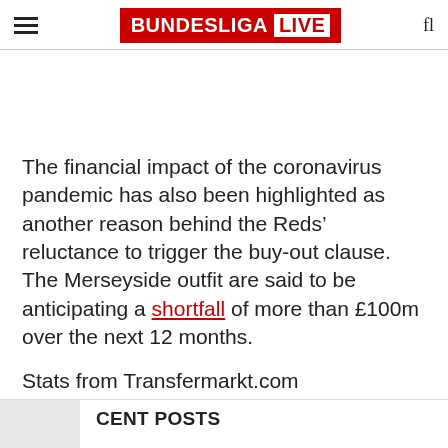BUNDESLIGA LIVE
The financial impact of the coronavirus pandemic has also been highlighted as another reason behind the Reds’ reluctance to trigger the buy-out clause. The Merseyside outfit are said to be anticipating a shortfall of more than £100m over the next 12 months.
Stats from Transfermarkt.com
RELATED TOPICS   RB LEIPZIG
CENT POSTS